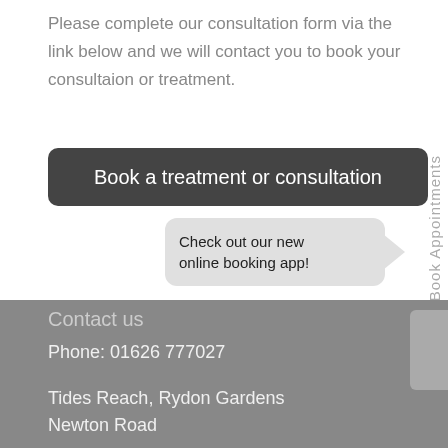Please complete our consultation form via the link below and we will contact you to book your consultaion or treatment.
[Figure (other): Dark rounded rectangle button with white text reading 'Book a treatment or consultation']
[Figure (other): Light gray speech bubble shape with text 'Check out our new online booking app!']
[Figure (other): Vertical sidebar tab with text 'Book Appointments' rotated 90 degrees]
Contact us
Phone: 01626 777027
Tides Reach, Rydon Gardens
Newton Road